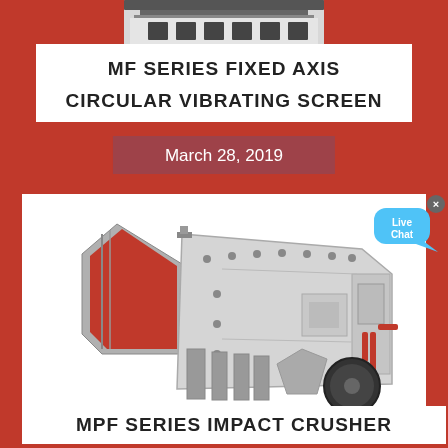[Figure (photo): Top portion of MF Series Fixed Axis Circular Vibrating Screen machine, gray/white industrial equipment with dark components visible at top]
MF SERIES FIXED AXIS CIRCULAR VIBRATING SCREEN
March 28, 2019
[Figure (photo): MPF Series Impact Crusher - large industrial gray and white impact crusher machine with red accents, red inlet chute on left side, bolted body panels, and black flywheel visible at bottom right]
[Figure (infographic): Live Chat bubble widget with cyan/blue speech bubble and close X button]
MPF SERIES IMPACT CRUSHER